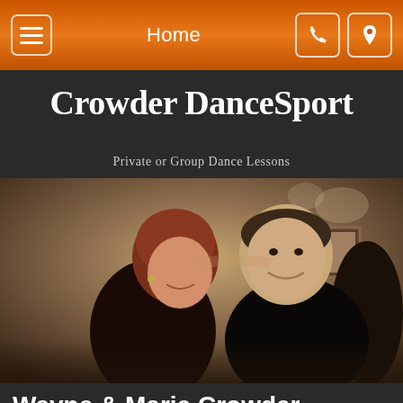Home
Crowder DanceSport
Private or Group Dance Lessons
[Figure (photo): Wayne and Marie Crowder dancing together, smiling, dressed in black, in a dance studio setting]
Wayne & Marie Crowder
We capitalize on the partnership skills needed for two people to dance together and enjoy the music.  We specialize in tailoring each lesson to